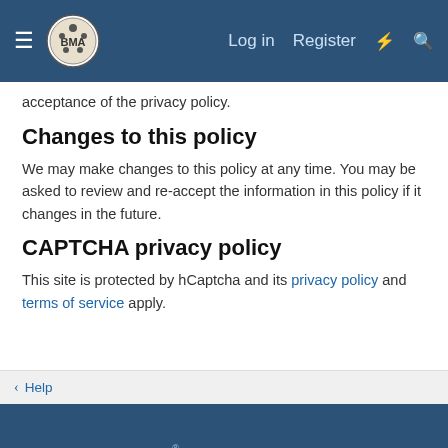BMA forum — Log in | Register
acceptance of the privacy policy.
Changes to this policy
We may make changes to this policy at any time. You may be asked to review and re-accept the information in this policy if it changes in the future.
CAPTCHA privacy policy
This site is protected by hCaptcha and its privacy policy and terms of service apply.
< Help | Terms and rules | Privacy policy | Help | Home | Community platform by XenForo® © 2010-2021 XenForo Ltd.